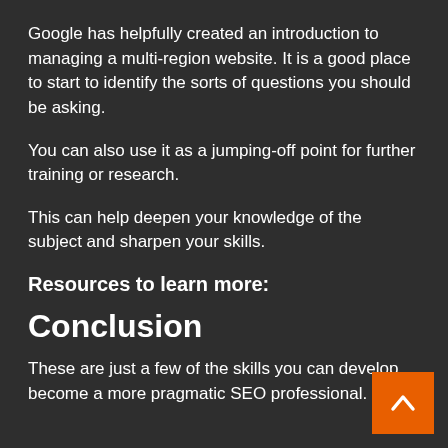Google has helpfully created an introduction to managing a multi-region website. It is a good place to start to identify the sorts of questions you should be asking.
You can also use it as a jumping-off point for further training or research.
This can help deepen your knowledge of the subject and sharpen your skills.
Resources to learn more:
Conclusion
These are just a few of the skills you can develop become a more pragmatic SEO professional.